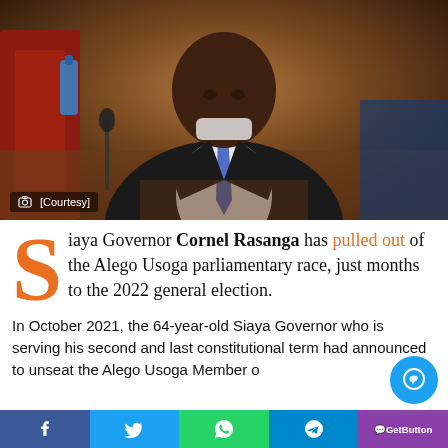[Figure (photo): A man in a dark suit and blue patterned tie seated at a table with a microphone, wearing a face mask pulled down. Background is a reddish-brown setting with bottles and chairs visible.]
[Courtesy]
Siaya Governor Cornel Rasanga has pulled out of the Alego Usoga parliamentary race, just months to the 2022 general election.
In October 2021, the 64-year-old Siaya Governor who is serving his second and last constitutional term had announced to unseat the Alego Usoga Member of
Facebook Twitter WhatsApp Telegram GetButton